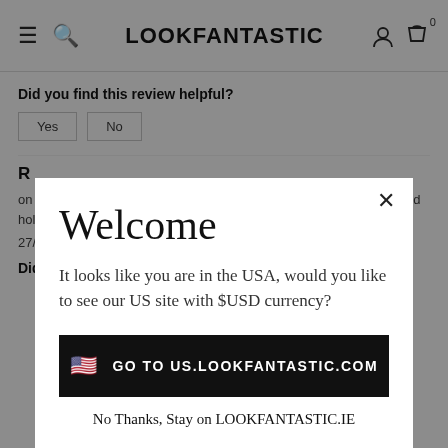LOOKFANTASTIC
Did you find this review helpful?
on damp hair, it is not greasy, washed with water easily, not shiny, and holds the hair perfectly.
27/10/2014 by Tal
Did you find this review helpful?
Welcome
It looks like you are in the USA, would you like to see our US site with $USD currency?
GO TO US.LOOKFANTASTIC.COM
No Thanks, Stay on LOOKFANTASTIC.IE